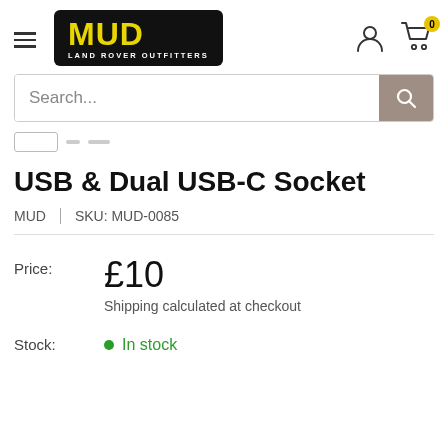[Figure (logo): MUD Land Rover Outfitters logo — black background with yellow MUD text and white subtitle]
USB & Dual USB-C Socket
MUD  |  SKU: MUD-0085
Price: £10  Shipping calculated at checkout
Stock: In stock